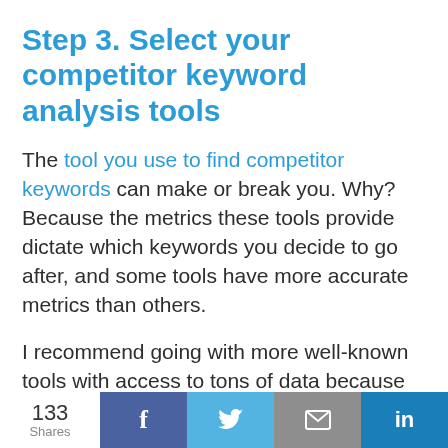Step 3. Select your competitor keyword analysis tools
The tool you use to find competitor keywords can make or break you. Why? Because the metrics these tools provide dictate which keywords you decide to go after, and some tools have more accurate metrics than others.
I recommend going with more well-known tools with access to tons of data because they will have more accurate metrics on just how much a term gets searched and
133 Shares  f  [Twitter bird]  [mail icon]  in